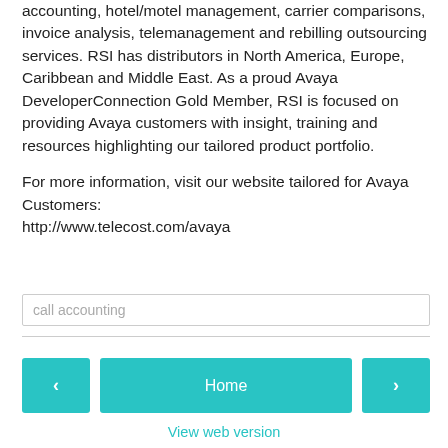accounting, hotel/motel management, carrier comparisons, invoice analysis, telemanagement and rebilling outsourcing services. RSI has distributors in North America, Europe, Caribbean and Middle East. As a proud Avaya DeveloperConnection Gold Member, RSI is focused on providing Avaya customers with insight, training and resources highlighting our tailored product portfolio.

For more information, visit our website tailored for Avaya Customers:
http://www.telecost.com/avaya
call accounting
‹
Home
›
View web version
Powered by Blogger.